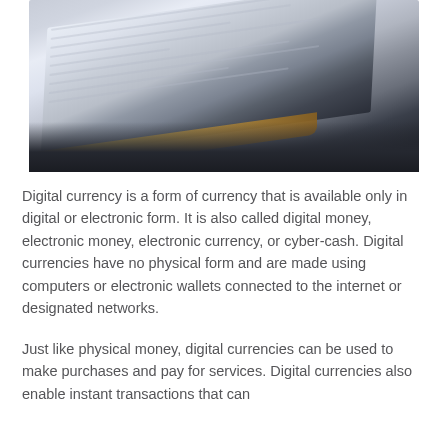[Figure (photo): A tablet device photographed at an angle showing a screen with form/document content, resting on a dark surface. Gold/metallic edge of the tablet visible. Person's fingers partially visible at top.]
Digital currency is a form of currency that is available only in digital or electronic form. It is also called digital money, electronic money, electronic currency, or cyber-cash. Digital currencies have no physical form and are made using computers or electronic wallets connected to the internet or designated networks.
Just like physical money, digital currencies can be used to make purchases and pay for services. Digital currencies also enable instant transactions that can